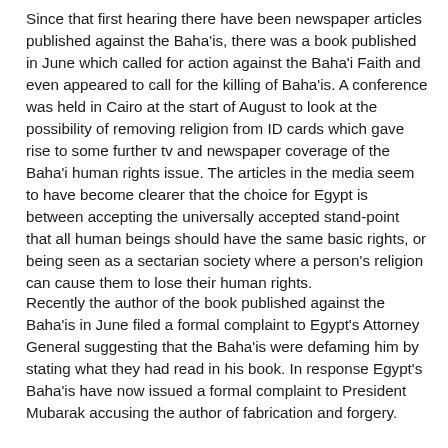Since that first hearing there have been newspaper articles published against the Baha'is, there was a book published in June which called for action against the Baha'i Faith and even appeared to call for the killing of Baha'is. A conference was held in Cairo at the start of August to look at the possibility of removing religion from ID cards which gave rise to some further tv and newspaper coverage of the Baha'i human rights issue. The articles in the media seem to have become clearer that the choice for Egypt is between accepting the universally accepted stand-point that all human beings should have the same basic rights, or being seen as a sectarian society where a person's religion can cause them to lose their human rights.
Recently the author of the book published against the Baha'is in June filed a formal complaint to Egypt's Attorney General suggesting that the Baha'is were defaming him by stating what they had read in his book. In response Egypt's Baha'is have now issued a formal complaint to President Mubarak accusing the author of fabrication and forgery.